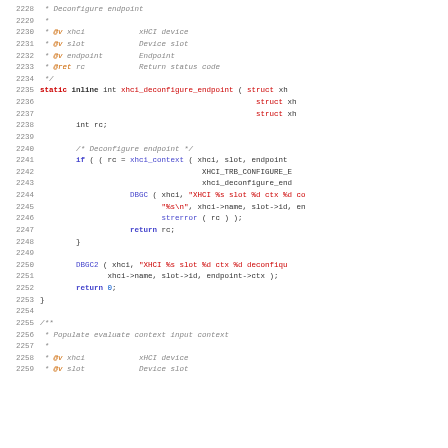Source code snippet showing xhci_deconfigure_endpoint function and beginning of next comment block, lines 2228-2259